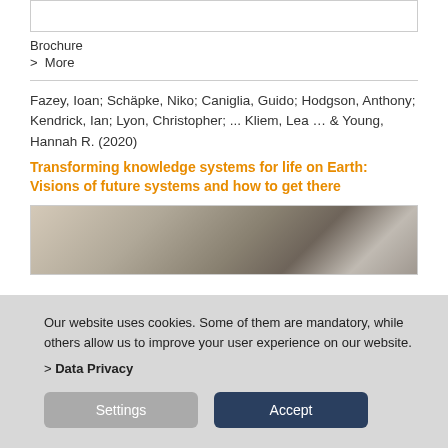Brochure
> More
Fazey, Ioan; Schäpke, Niko; Caniglia, Guido; Hodgson, Anthony; Kendrick, Ian; Lyon, Christopher; ... Kliem, Lea … & Young, Hannah R. (2020)
Transforming knowledge systems for life on Earth: Visions of future systems and how to get there
[Figure (photo): Photo of people, partially visible]
Our website uses cookies. Some of them are mandatory, while others allow us to improve your user experience on our website.
> Data Privacy
Settings
Accept